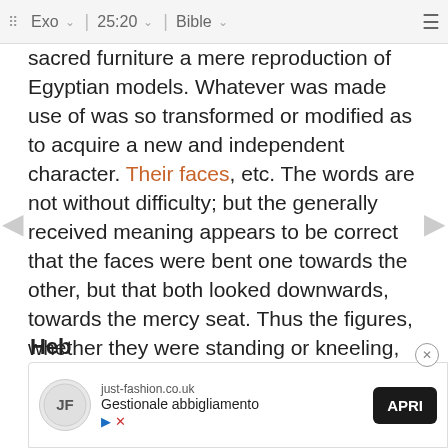Exo  25:20  Bible
sacred furniture a mere reproduction of Egyptian models. Whatever was made use of was so transformed or modified as to acquire a new and independent character. Their faces, etc. The words are not without difficulty; but the generally received meaning appears to be correct that the faces were bent one towards the other, but that both looked downwards, towards the mercy seat. Thus the figures, whether they were standing or kneeling, which is uncertain, presented the appearance of guardian angels, who watched over the precious deposit below - to wit, the two tables.
Parallel Commentaries ...
Heb
The c